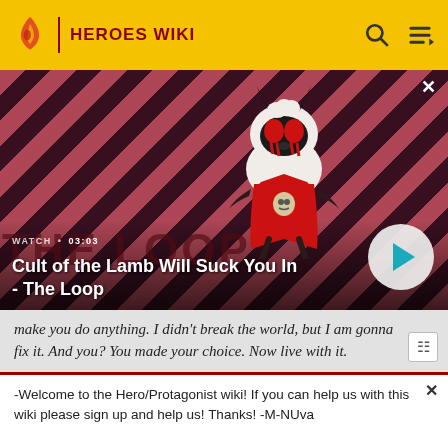HEROES WIKI
[Figure (screenshot): Video thumbnail showing animated lamb character from Cult of the Lamb game on a red diagonal striped background with THE LOOP text overlay. Video duration shown as 03:03. Play button visible.]
Cult of the Lamb Will Suck You In - The Loop
make you do anything. I didn't break the world, but I am gonna fix it. And you? You made your choice. Now live with it.
-Welcome to the Hero/Protagonist wiki! If you can help us with this wiki please sign up and help us! Thanks! -M-NUva